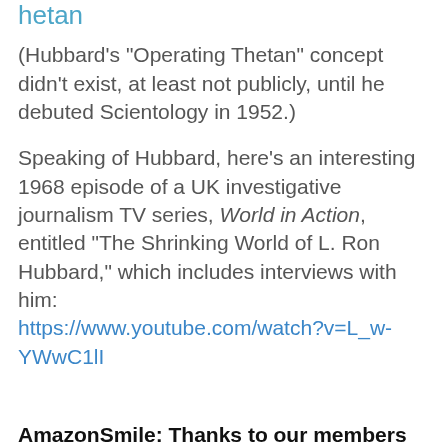hetan
(Hubbard's "Operating Thetan" concept didn't exist, at least not publicly, until he debuted Scientology in 1952.)
Speaking of Hubbard, here's an interesting 1968 episode of a UK investigative journalism TV series, World in Action, entitled "The Shrinking World of L. Ron Hubbard," which includes interviews with him: https://www.youtube.com/watch?v=L_w-YWwC1lI
AmazonSmile: Thanks to our members who are supporting NCAS!